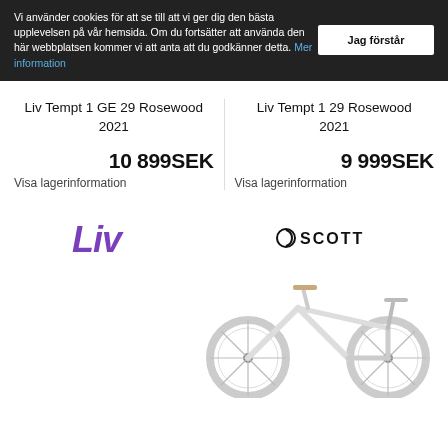Vi använder cookies för att se till att vi ger dig den bästa upplevelsen på vår hemsida. Om du fortsätter att använda den här webbplatsen kommer vi att anta att du godkänner detta. Mer information
Liv Tempt 1 GE 29 Rosewood 2021
Liv Tempt 1 29 Rosewood 2021
10 899SEK
Visa lagerinformation
9 999SEK
Visa lagerinformation
[Figure (logo): Liv brand logo in purple italic script]
[Figure (logo): Scott brand logo in black with circular icon]
[Figure (photo): White mountain bike (Scott) partially visible at bottom right]